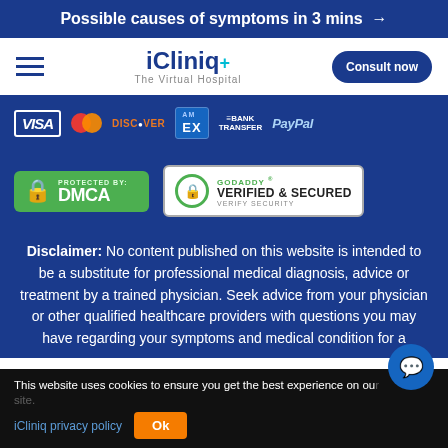Possible causes of symptoms in 3 mins →
[Figure (logo): iCliniq+ The Virtual Hospital logo with hamburger menu and Consult now button]
[Figure (infographic): Payment method logos: VISA, Mastercard, DISCOVER, AMEX, BANK TRANSFER, PayPal]
[Figure (infographic): Security badges: PROTECTED BY DMCA, GoDaddy VERIFIED & SECURED VERIFY SECURITY]
Disclaimer: No content published on this website is intended to be a substitute for professional medical diagnosis, advice or treatment by a trained physician. Seek advice from your physician or other qualified healthcare providers with questions you may have regarding your symptoms and medical condition for a
This website uses cookies to ensure you get the best experience on our site. iCliniq privacy policy  Ok